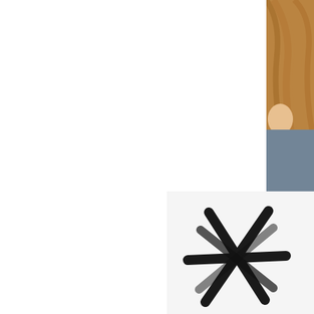[Figure (photo): Partial photo of a person with long reddish-brown hair wearing a blue/grey top, cropped to show only the right edge of the image]
But this dress i pictures...T
[Figure (photo): Close-up photo of a dark asterisk or star-shaped mark/symbol on a light background]